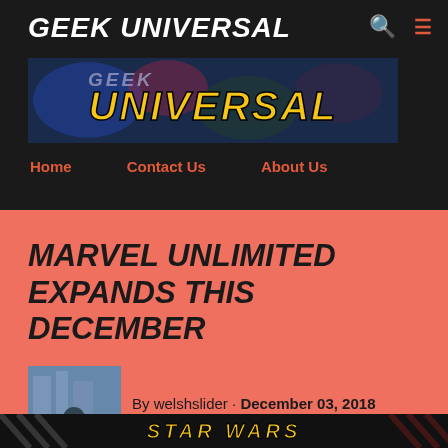GEEK UNIVERSAL
[Figure (logo): Geek Universal banner logo with yellow stylized text on dark comic book illustrated background]
Home   Contact Us   About Us
MARVEL UNLIMITED EXPANDS THIS DECEMBER
[Figure (photo): Author photo: man in dark polo shirt standing with arms crossed outdoors]
By welshslider · December 03, 2018
[Figure (illustration): Star Wars themed banner at the bottom of the page]